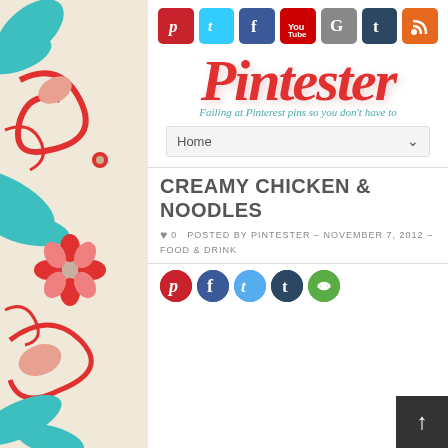[Figure (illustration): Decorative floral pattern on left and right sides of page with red, teal, and cream colored swirling flowers and leaves]
[Figure (logo): Pintester blog logo - red cursive script text reading 'Pintester' with teal italic tagline 'Failing at Pinterest pins so you don't have to']
[Figure (infographic): Social media icon bar with Pinterest (red), Twitter (light blue), Facebook (dark blue), YouTube (red), Google+ (gray), Tumblr (navy), RSS (orange) icons]
Home
CREAMY CHICKEN & NOODLES
0   POSTED BY PINTESTER – NOVEMBER 7, 2012 – FOOD & DRINK
[Figure (infographic): Share button row with circular icons: Pinterest (red), Facebook (blue), Twitter (light blue), Tumblr (navy), green share icon]